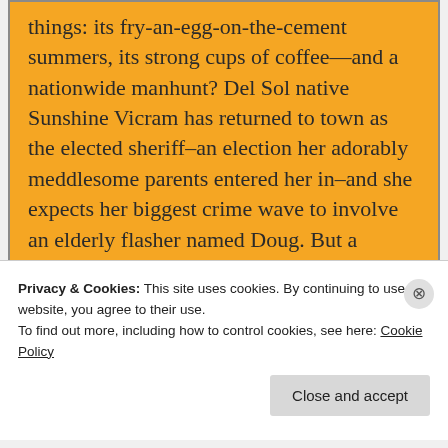things: its fry-an-egg-on-the-cement summers, its strong cups of coffee—and a nationwide manhunt? Del Sol native Sunshine Vicram has returned to town as the elected sheriff–an election her adorably meddlesome parents entered her in–and she expects her biggest crime wave to involve an elderly flasher named Doug. But a teenage girl is missing, a kidnapper is on the loose, and all of it's reminding Sunny why she left Del Sol in the first place. Add to that trouble at her daughter's new school and a
Privacy & Cookies: This site uses cookies. By continuing to use this website, you agree to their use.
To find out more, including how to control cookies, see here: Cookie Policy
Close and accept